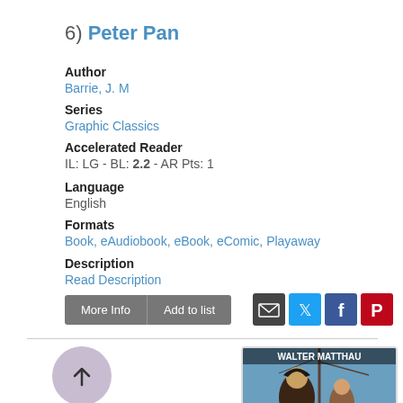6) Peter Pan
Author
Barrie, J. M
Series
Graphic Classics
Accelerated Reader
IL: LG - BL: 2.2 - AR Pts: 1
Language
English
Formats
Book, eAudiobook, eBook, eComic, Playaway
Description
Read Description
[Figure (screenshot): More Info and Add to list buttons with email, Twitter, Facebook, Pinterest social sharing icons]
[Figure (photo): Book cover showing Walter Matthau as a pirate character with a child, ship rigging in background, titled WALTER MATTHAU]